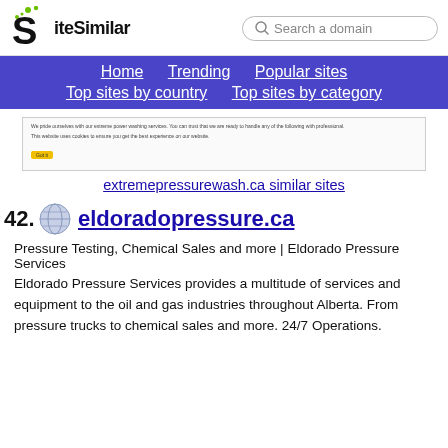[Figure (logo): SiteSimilar logo with stylized S and dots]
SiteSimilar — Search a domain
Home | Trending | Popular sites | Top sites by country | Top sites by category
[Figure (screenshot): Screenshot of extremepressurewash.ca with cookie consent banner]
extremepressurewash.ca similar sites
42. eldoradopressure.ca
Pressure Testing, Chemical Sales and more | Eldorado Pressure Services
Eldorado Pressure Services provides a multitude of services and equipment to the oil and gas industries throughout Alberta. From pressure trucks to chemical sales and more. 24/7 Operations.